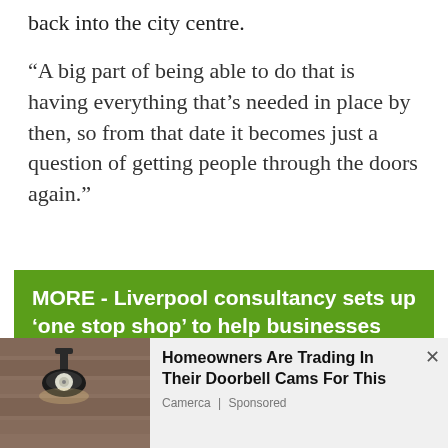back into the city centre.
“A big part of being able to do that is having everything that’s needed in place by then, so from that date it becomes just a question of getting people through the doors again.”
MORE - Liverpool consultancy sets up ‘one stop shop’ to help businesses recover from
We use cookies on our website to give you the most relevant experience by remembering your preferences and repeat visits. By clicking “Accept All”, you consent to the use of ALL the cookies. However, you may visit "Cookie Settings" to provide a controlled consent.
[Figure (photo): Outdoor wall-mounted lamp/security camera on stone wall]
Homeowners Are Trading In Their Doorbell Cams For This
Camerca | Sponsored